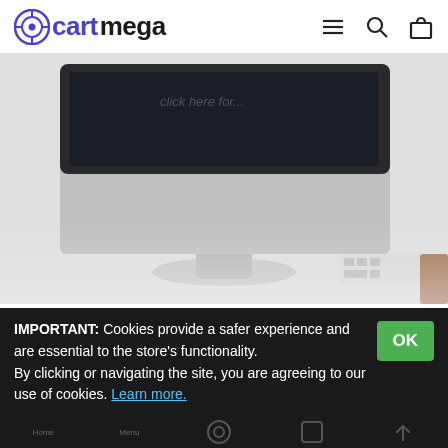cartmega
[Figure (photo): iMac computer monitor on a white desk with keyboard, screen showing dark display with faint text 'click here for...']
Choose your method:
Easy Installation
Install our extension in any of 3 ways:
IMPORTANT: Cookies provide a safer experience and are essential to the store's functionality. By clicking or navigating the site, you are agreeing to our use of cookies. Learn more.